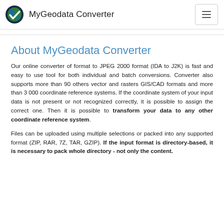MyGeodata Converter
About MyGeodata Converter
Our online converter of format to JPEG 2000 format (IDA to J2K) is fast and easy to use tool for both individual and batch conversions. Converter also supports more than 90 others vector and rasters GIS/CAD formats and more than 3 000 coordinate reference systems. If the coordinate system of your input data is not present or not recognized correctly, it is possible to assign the correct one. Then it is possible to transform your data to any other coordinate reference system.
Files can be uploaded using multiple selections or packed into any supported format (ZIP, RAR, 7Z, TAR, GZIP). If the input format is directory-based, it is necessary to pack whole directory - not only the content.